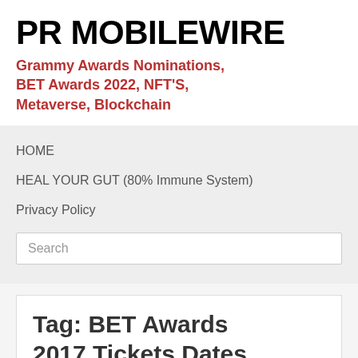PR MOBILEWIRE
Grammy Awards Nominations, BET Awards 2022, NFT'S, Metaverse, Blockchain
HOME
HEAL YOUR GUT (80% Immune System)
Privacy Policy
Search
Tag: BET Awards 2017 Tickets Dates June 22-25 LA Live